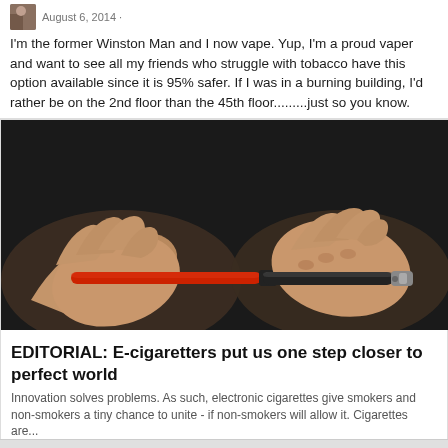August 6, 2014
I'm the former Winston Man and I now vape. Yup, I'm a proud vaper and want to see all my friends who struggle with tobacco have this option available since it is 95% safer. If I was in a burning building, I'd rather be on the 2nd floor than the 45th floor.........just so you know.
[Figure (photo): Hands holding two e-cigarettes — one red and one black — against a dark background]
EDITORIAL: E-cigaretters put us one step closer to perfect world
Innovation solves problems. As such, electronic cigarettes give smokers and non-smokers a tiny chance to unite - if non-smokers will allow it. Cigarettes are...
August…………………